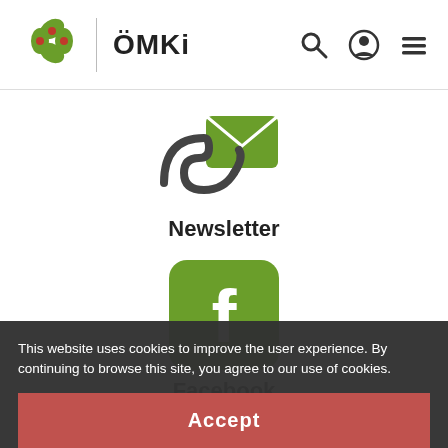[Figure (logo): ÖMKi logo with green leaf icon and bold text ÖMKi]
[Figure (screenshot): Navigation icons: search (magnifying glass), user/account (person circle), and hamburger menu]
[Figure (illustration): Newsletter icon: stylized envelope with decorative bird/hook shape in dark gray and green]
Newsletter
[Figure (logo): Facebook icon: green rounded square with white lowercase f]
Facebook
[Figure (logo): Instagram icon: green rounded square with camera outline]
Instagram
This website uses cookies to improve the user experience. By continuing to browse this site, you agree to our use of cookies.
Accept